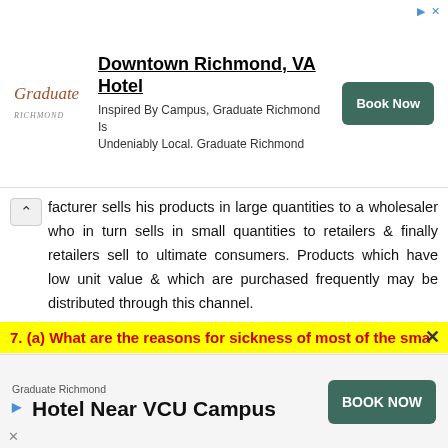[Figure (other): Advertisement banner for Graduate Richmond Downtown Richmond VA Hotel with Book Now button]
facturer sells his products in large quantities to a wholesaler who in turn sells in small quantities to retailers & finally retailers sell to ultimate consumers. Products which have low unit value & which are purchased frequently may be distributed through this channel.
D. Three Level Channel (Manufactures Wholesalers Agents Retailers Consumers):
In this method manufactures appoint agent such as consignees to sell their products. It is preferable for exporters or MNCs.
7. (a) What are the reasons for sickness of most of the sma
[Figure (other): Advertisement banner for Graduate Richmond Hotel Near VCU Campus with BOOK NOW button]